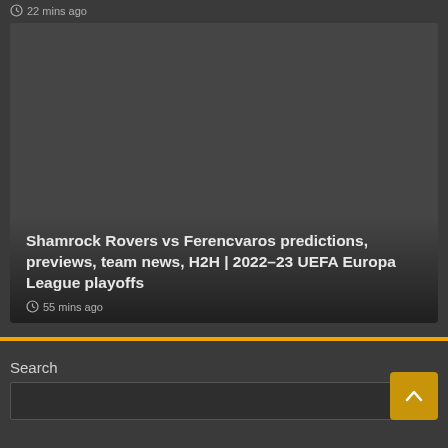22 mins ago
[Figure (photo): Dark placeholder image for a sports article card]
Shamrock Rovers vs Ferencvaros predictions, previews, team news, H2H | 2022–23 UEFA Europa League playoffs
55 mins ago
Search